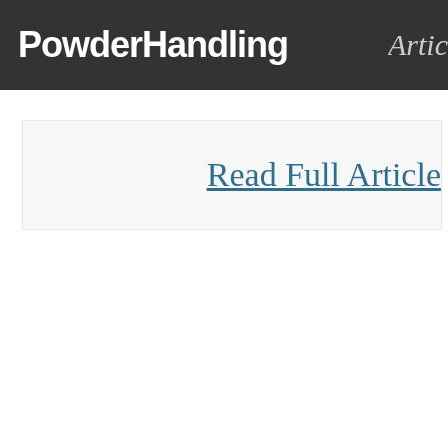PowderHandling  Artic
Read Full Article